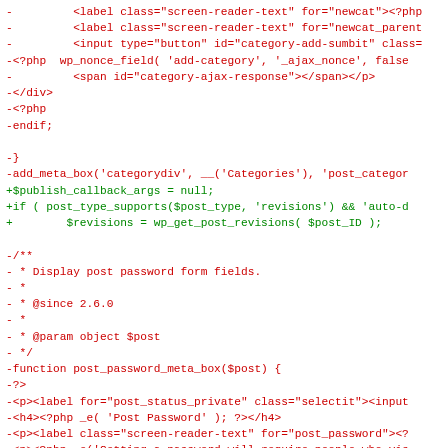[Figure (screenshot): A code diff view showing removed lines (red, prefixed with -) and added lines (green, prefixed with +) from a PHP/HTML file related to WordPress post meta boxes.]